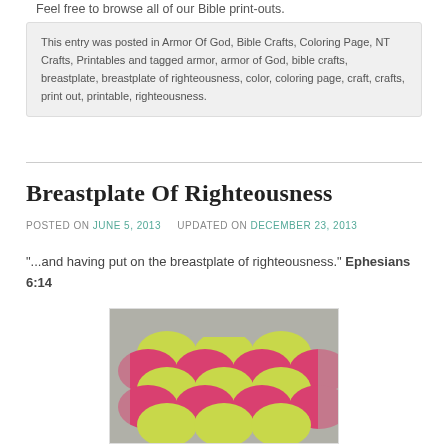Feel free to browse all of our Bible print-outs.
This entry was posted in Armor Of God, Bible Crafts, Coloring Page, NT Crafts, Printables and tagged armor, armor of God, bible crafts, breastplate, breastplate of righteousness, color, coloring page, craft, crafts, print out, printable, righteousness.
Breastplate Of Righteousness
POSTED ON JUNE 5, 2013   UPDATED ON DECEMBER 23, 2013
"...and having put on the breastplate of righteousness." Ephesians 6:14
[Figure (photo): A handmade breastplate craft made from pink and yellow-green fabric pieces arranged in overlapping scales pattern, laid flat on a gray fabric background.]